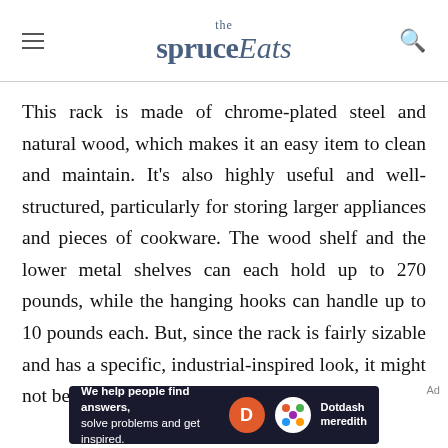the spruce Eats
This rack is made of chrome-plated steel and natural wood, which makes it an easy item to clean and maintain. It’s also highly useful and well-structured, particularly for storing larger appliances and pieces of cookware. The wood shelf and the lower metal shelves can each hold up to 270 pounds, while the hanging hooks can handle up to 10 pounds each. But, since the rack is fairly sizable and has a specific, industrial-inspired look, it might not be an aesthetic fit for every kitchen.
[Figure (other): Dotdash Meredith advertisement banner: 'We help people find answers, solve problems and get inspired.' with Dotdash Meredith logo]